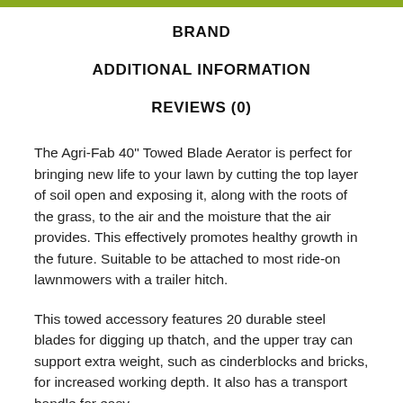BRAND
ADDITIONAL INFORMATION
REVIEWS (0)
The Agri-Fab 40" Towed Blade Aerator is perfect for bringing new life to your lawn by cutting the top layer of soil open and exposing it, along with the roots of the grass, to the air and the moisture that the air provides. This effectively promotes healthy growth in the future. Suitable to be attached to most ride-on lawnmowers with a trailer hitch.
This towed accessory features 20 durable steel blades for digging up thatch, and the upper tray can support extra weight, such as cinderblocks and bricks, for increased working depth. It also has a transport handle for easy